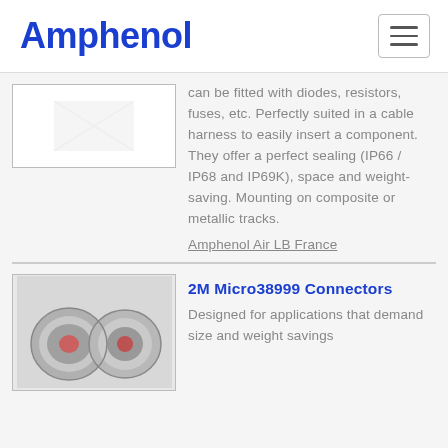Amphenol
[Figure (photo): Product image placeholder for a connector product, partially visible at top]
can be fitted with diodes, resistors, fuses, etc. Perfectly suited in a cable harness to easily insert a component. They offer a perfect sealing (IP66 / IP68 and IP69K), space and weight-saving. Mounting on composite or metallic tracks.
Amphenol Air LB France
[Figure (photo): Photo of 2M Micro38999 connectors, metallic circular connectors with red accents]
2M Micro38999 Connectors
Designed for applications that demand size and weight savings